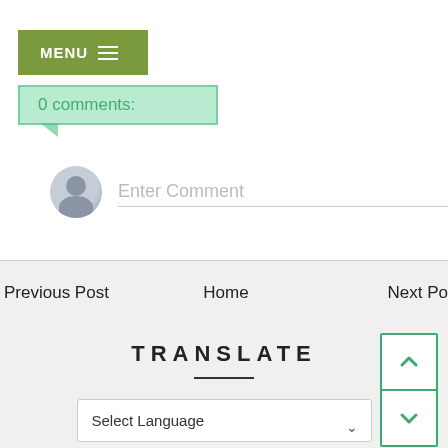[Figure (screenshot): Menu button with olive/green background, white MENU text and hamburger icon lines]
0 comments:
Enter Comment
Previous Post
Home
Next Po
TRANSLATE
Select Language
Powered by Google Translate